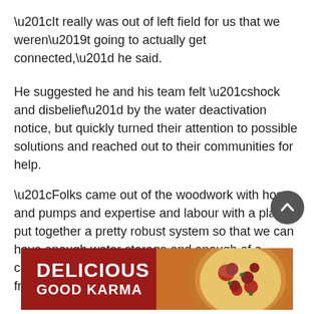“It really was out of left field for us that we weren’t going to actually get connected,” he said.
He suggested he and his team felt “shock and disbelief” by the water deactivation notice, but quickly turned their attention to possible solutions and reached out to their communities for help.
“Folks came out of the woodwork with hoses and pumps and expertise and labour with a plan to put together a pretty robust system so that we can have enough water storage and enough of a catchment area to survive without water access from the ACRD,” he said.
[Figure (screenshot): Advertisement banner with red background showing 'DELICIOUS GOOD KARMA' text in white bold uppercase letters alongside an image of pizza on the right side.]